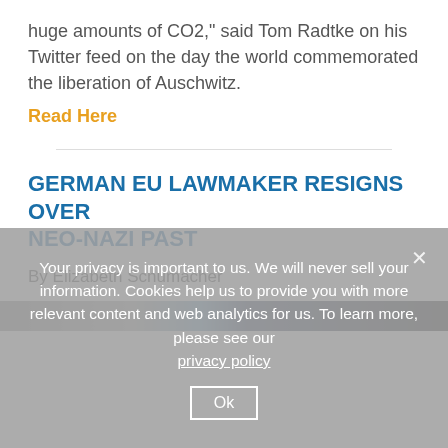huge amounts of CO2," said Tom Radtke on his Twitter feed on the day the world commemorated the liberation of Auschwitz.
Read Here
GERMAN EU LAWMAKER RESIGNS OVER NEO-NAZI PAST
By Elizabeth Schumacher
[Figure (photo): Partial view of a photo, partially obscured by cookie consent overlay]
Your privacy is important to us. We will never sell your information. Cookies help us to provide you with more relevant content and web analytics for us. To learn more, please see our privacy policy Ok